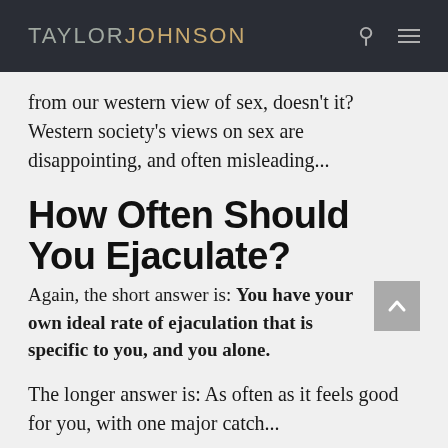TAYLORJOHNSON
from our western view of sex, doesn't it? Western society's views on sex are disappointing, and often misleading...
How Often Should You Ejaculate?
Again, the short answer is: You have your own ideal rate of ejaculation that is specific to you, and you alone.
The longer answer is: As often as it feels good for you, with one major catch...